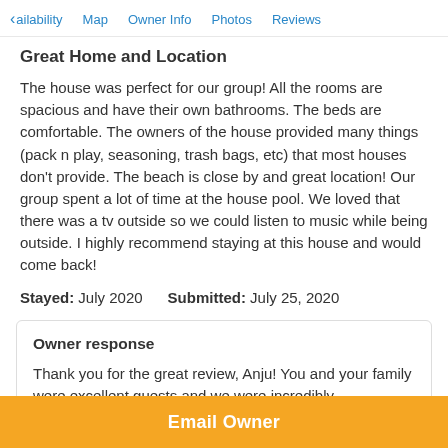< ailability   Map   Owner Info   Photos   Reviews
Great Home and Location
The house was perfect for our group! All the rooms are spacious and have their own bathrooms. The beds are comfortable. The owners of the house provided many things (pack n play, seasoning, trash bags, etc) that most houses don't provide. The beach is close by and great location! Our group spent a lot of time at the house pool. We loved that there was a tv outside so we could listen to music while being outside. I highly recommend staying at this house and would come back!
Stayed: July 2020   Submitted: July 25, 2020
Owner response
Thank you for the great review, Anju! You and your family were excellent guests and we were incredibly
Email Owner